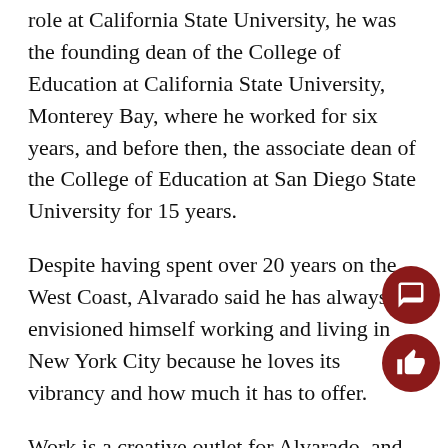role at California State University, he was the founding dean of the College of Education at California State University, Monterey Bay, where he worked for six years, and before then, the associate dean of the College of Education at San Diego State University for 15 years.
Despite having spent over 20 years on the West Coast, Alvarado said he has always envisioned himself working and living in New York City because he loves its vibrancy and how much it has to offer.
Work is a creative outlet for Alvarado, and he enjoys engaging with students and supporting them through academic programs. Outside of his academic responsibilities, he expresses himself creatively through art. He explained that painting is a time-consuming process, and because he prefers large canvases, it usually takes him three to five years to